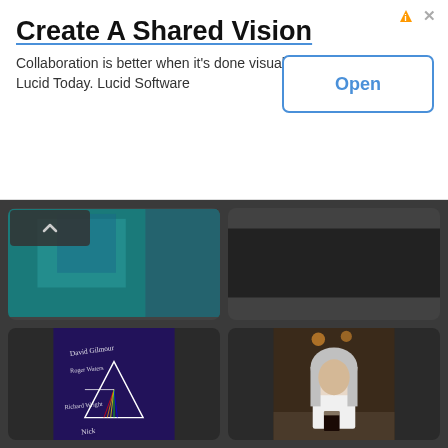[Figure (screenshot): Advertisement banner: 'Create A Shared Vision' - Lucid Software ad with Open button]
Create A Shared Vision
Collaboration is better when it's done visually. Try Lucid Today. Lucid Software
[Figure (photo): Partial photo at top of card - teal/blue background image]
2004 - Nick Mason's Inside Out Book Promotional Tour, Reports & Stories
[Figure (photo): Partial dark photo at top of second card]
2004 - Nick Mason Talk At Elmwood Hall, Belfast
[Figure (photo): Signed Pink Floyd Dark Side of the Moon album cover with autographs]
[Figure (photo): Man with long gray hair sitting at a bar with dark beer]